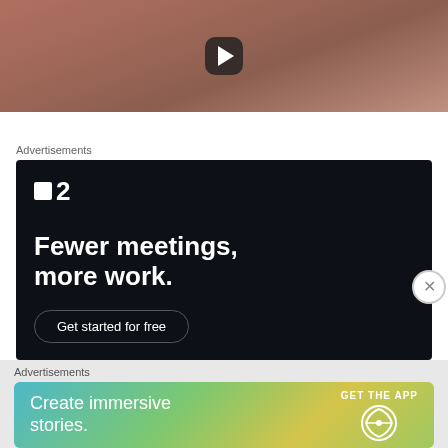[Figure (screenshot): Video thumbnail showing people in warm tones with a play button overlay]
Advertisements
[Figure (screenshot): Dark advertisement for a project management tool. Logo shows a square and dot beside the number 2. Headline: 'Fewer meetings, more work.' Button: 'Get started for free']
Advertisements
[Figure (screenshot): WordPress advertisement with gradient background. Text: 'Create immersive stories.' CTA: 'GET THE APP' with WordPress logo.]